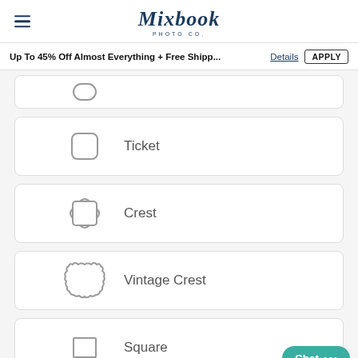Mixbook PHOTO CO.
Up To 45% Off Almost Everything + Free Shipp... Details APPLY
Ticket
Crest
Vintage Crest
Square